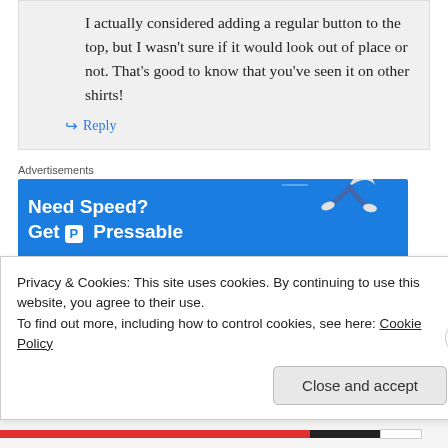I actually considered adding a regular button to the top, but I wasn't sure if it would look out of place or not. That's good to know that you've seen it on other shirts!
↪ Reply
Advertisements
[Figure (other): Blue advertisement banner reading 'Need Speed? Get P Pressable' with a figure of a person flying/running on the right side]
brianne on December 29, 2014 at 7:50 am
Privacy & Cookies: This site uses cookies. By continuing to use this website, you agree to their use.
To find out more, including how to control cookies, see here: Cookie Policy
Close and accept